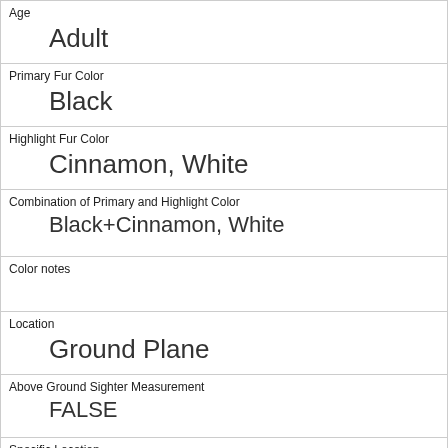| Age | Adult |
| Primary Fur Color | Black |
| Highlight Fur Color | Cinnamon, White |
| Combination of Primary and Highlight Color | Black+Cinnamon, White |
| Color notes |  |
| Location | Ground Plane |
| Above Ground Sighter Measurement | FALSE |
| Specific Location |  |
| Running | 1 |
| Chasing | 0 |